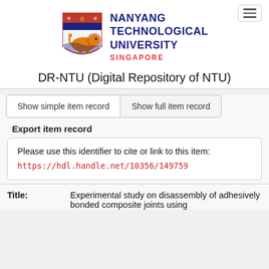[Figure (logo): Nanyang Technological University Singapore shield logo with lion and name text]
DR-NTU (Digital Repository of NTU)
Show simple item record
Show full item record
Export item record
Please use this identifier to cite or link to this item:
https://hdl.handle.net/10356/149759
| Field | Value |
| --- | --- |
| Title: | Experimental study on disassembly of adhesively bonded composite joints using thermally expandable binder particles |